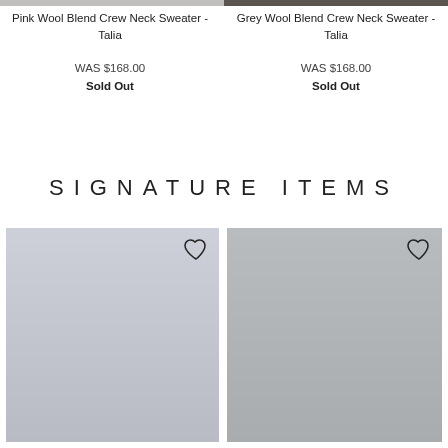[Figure (photo): Partial cropped top of Pink Wool Blend Crew Neck Sweater product photo]
[Figure (photo): Partial cropped top of Grey Wool Blend Crew Neck Sweater product photo, model visible from shoulders up]
Pink Wool Blend Crew Neck Sweater - Talia
WAS $168.00
Sold Out
Grey Wool Blend Crew Neck Sweater - Talia
WAS $168.00
Sold Out
SIGNATURE ITEMS
[Figure (photo): Model wearing a light blue oversized crew neck sweater over a dark turtleneck, with black trousers, on a light grey background. Heart/wishlist icon in top right corner.]
[Figure (photo): Model wearing a grey oversized V-neck sweater over a white collared shirt, wearing sunglasses, on a light grey background. Heart/wishlist icon in top right corner.]